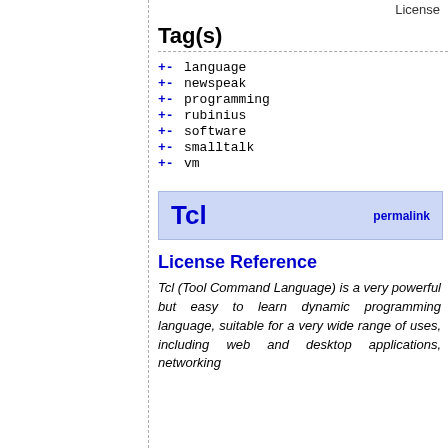License
Tag(s)
+- language
+- newspeak
+- programming
+- rubinius
+- software
+- smalltalk
+- vm
Tcl
License Reference
Tcl (Tool Command Language) is a very powerful but easy to learn dynamic programming language, suitable for a very wide range of uses, including web and desktop applications, networking